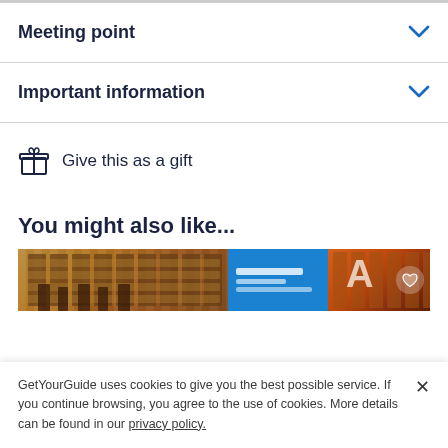Meeting point
Important information
Give this as a gift
You might also like...
[Figure (photo): Carousel of tour/activity images including a building with autumn foliage, a blue promotional card, and a red-orange historic building facade with heart button]
GetYourGuide uses cookies to give you the best possible service. If you continue browsing, you agree to the use of cookies. More details can be found in our privacy policy.